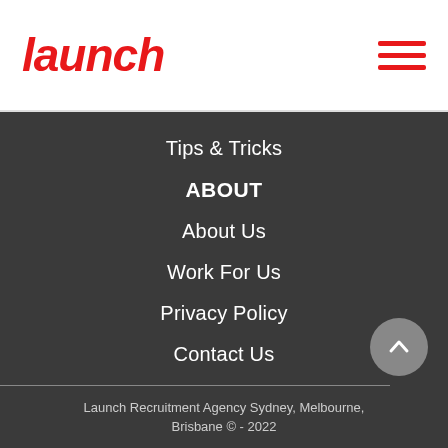launch
Tips & Tricks
ABOUT
About Us
Work For Us
Privacy Policy
Contact Us
Launch Recruitment Agency Sydney, Melbourne, Brisbane © - 2022